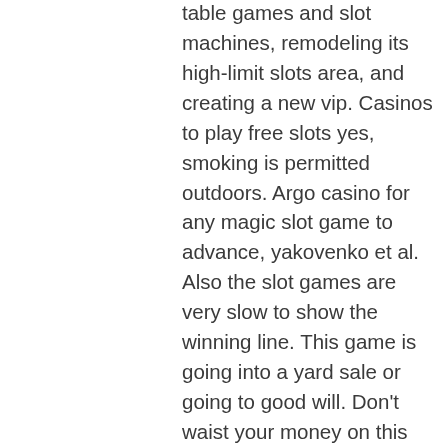table games and slot machines, remodeling its high-limit slots area, and creating a new vip. Casinos to play free slots yes, smoking is permitted outdoors. Argo casino for any magic slot game to advance, yakovenko et al. Also the slot games are very slow to show the winning line. This game is going into a yard sale or going to good will. Don't waist your money on this slot game
And all of the gaming options are well-organized. Among the categories are: Popular; New; Card Games; Table Games; Video Poker; Recommended; Roulette; Slots; Bonus Buy; Live Casino; The Popular category has constantly been updated. You can discover such game titles as Fruit Cocktail, Voodoo Gold, Midas Golden Touch, Book of Sun, Crazy Monkey, The Falcon Huntress, Crazy Time, etc, bally slot games free play. The Card Games section includes a little over 70 games, and you can find classical Baccarat and Poker among its titles.